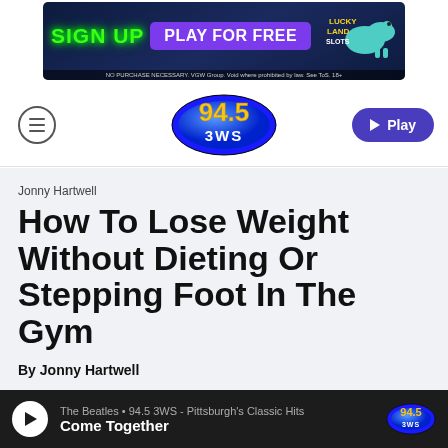[Figure (other): LuckyLand Slots advertisement banner: SIGN UP PLAY FOR FREE with dinosaur mascot logo]
94.5 3WS radio station navigation bar with menu button and Play button
Jonny Hartwell
How To Lose Weight Without Dieting Or Stepping Foot In The Gym
By Jonny Hartwell
The Beatles • 94.5 3WS - Pittsburgh's Classic Hits | Come Together